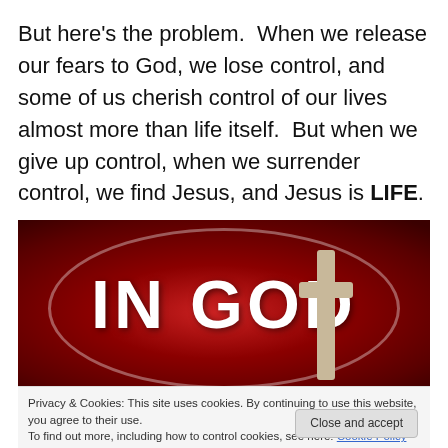But here’s the problem.  When we release our fears to God, we lose control, and some of us cherish control of our lives almost more than life itself.  But when we give up control, when we surrender control, we find Jesus, and Jesus is LIFE.
[Figure (illustration): Red circular stop-sign style background with glowing oval ring and a cross on the right side. Bold white text reads 'IN GOD']
Privacy & Cookies: This site uses cookies. By continuing to use this website, you agree to their use.
To find out more, including how to control cookies, see here: Cookie Policy
Close and accept